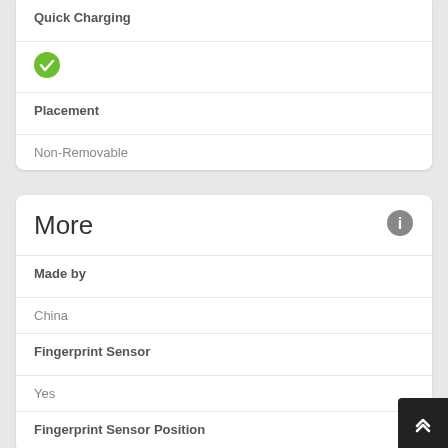Quick Charging
✓
Placement
Non-Removable
More
Made by
China
Fingerprint Sensor
Yes
Fingerprint Sensor Position